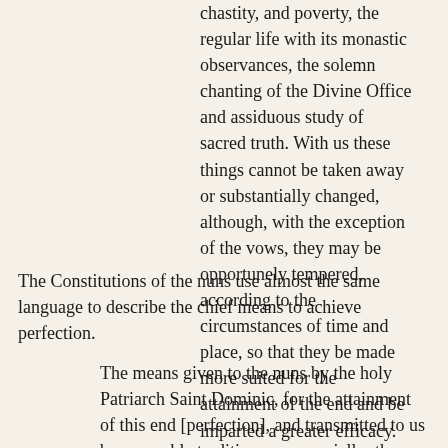chastity, and poverty, the regular life with its monastic observances, the solemn chanting of the Divine Office and assiduous study of sacred truth. With us these things cannot be taken away or substantially changed, although, with the exception of the vows, they may be opportunely tempered, according to the circumstances of time and place, so that they be made more suited for the attainment of the end and be imparted a greater efficacy.
The Constitutions of the nuns use almost the same language to describe the chief means to achieve perfection.
The means given to the nuns by the holy Patriarch Saint Dominic, for the attainment of this end [perfection], and transmitted to us by venerable tradition, are especially: the three solemn vows of poverty, chastity, and obedience; the solemn recitation of the Divine Office; certain fasts and bodily mortifications; and the devout and constant